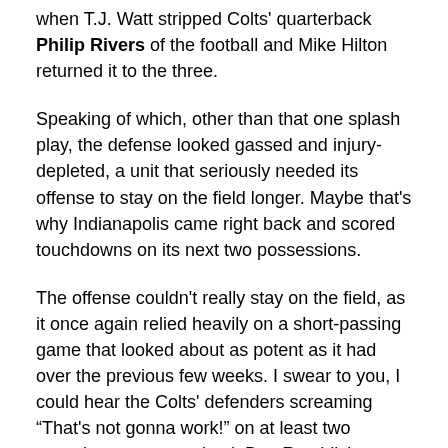when T.J. Watt stripped Colts' quarterback Philip Rivers of the football and Mike Hilton returned it to the three.
Speaking of which, other than that one splash play, the defense looked gassed and injury-depleted, a unit that seriously needed its offense to stay on the field longer. Maybe that's why Indianapolis came right back and scored touchdowns on its next two possessions.
The offense couldn't really stay on the field, as it once again relied heavily on a short-passing game that looked about as potent as it had over the previous few weeks. I swear to you, I could hear the Colts' defenders screaming “That's not gonna work!” on at least two occasions as quarterback Ben Roethlisberger barked out his pre-snap adjustments.